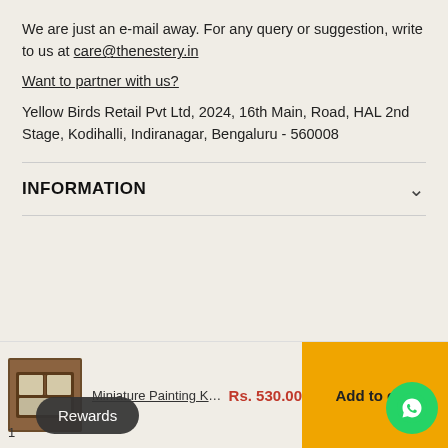We are just an e-mail away. For any query or suggestion, write to us at care@thenestery.in
Want to partner with us?
Yellow Birds Retail Pvt Ltd, 2024, 16th Main, Road, HAL 2nd Stage, Kodihalli, Indiranagar, Bengaluru - 560008
INFORMATION
Copyright © 2022 The Nestery.
Powered by Shopify
Miniature Painting Kit - ...  Rs. 530.00  Add to cart
Rewards
1